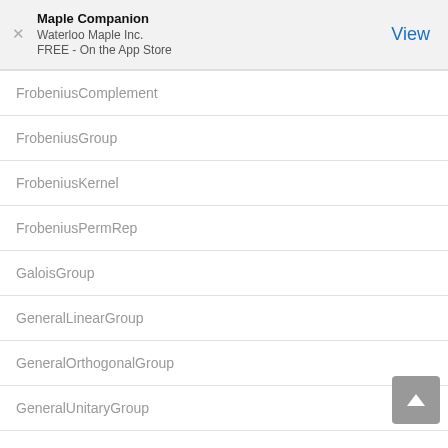Maple Companion
Waterloo Maple Inc.
FREE - On the App Store
FrobeniusComplement
FrobeniusGroup
FrobeniusKernel
FrobeniusPermRep
GaloisGroup
GeneralLinearGroup
GeneralOrthogonalGroup
GeneralUnitaryGroup
Generators